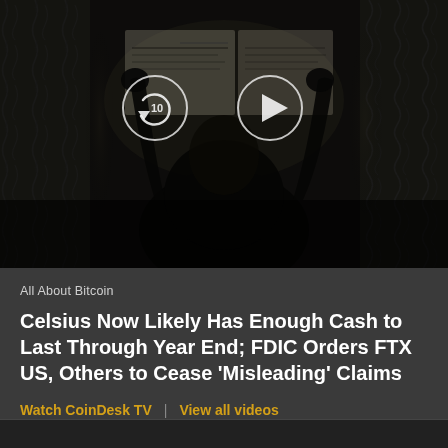[Figure (screenshot): Dark video thumbnail showing a silhouette of a person holding/reading a newspaper against a curtained background. Video player controls are overlaid in the center: a replay/rewind 10 seconds button (circle with arrow and '10') and a play button (circle with triangle).]
All About Bitcoin
Celsius Now Likely Has Enough Cash to Last Through Year End; FDIC Orders FTX US, Others to Cease 'Misleading' Claims
Watch CoinDesk TV  |  View all videos